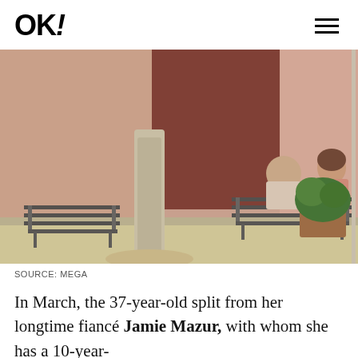OK!
[Figure (photo): Two people sitting on a bench outdoors near a tree and pink wall with potted plants, photographed at night or dusk.]
SOURCE: MEGA
In March, the 37-year-old split from her longtime fiancé Jamie Mazur, with whom she has a 10-year-